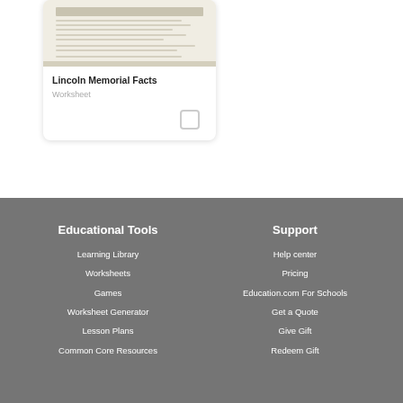[Figure (screenshot): Thumbnail preview of Lincoln Memorial Facts worksheet document]
Lincoln Memorial Facts
Worksheet
Educational Tools
Learning Library
Worksheets
Games
Worksheet Generator
Lesson Plans
Common Core Resources
Support
Help center
Pricing
Education.com For Schools
Get a Quote
Give Gift
Redeem Gift